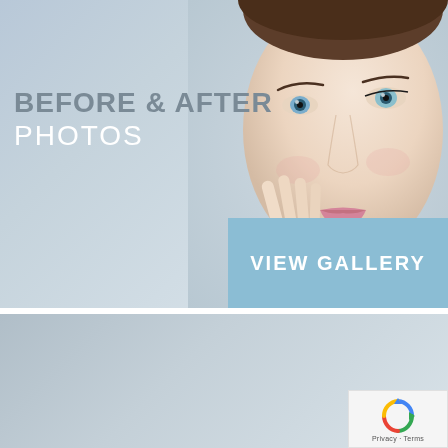[Figure (photo): Top banner with light gray-blue background. A woman's face (close-up, touching cheek with fingers, bright eyes, light skin) visible on the right side. Blue overlay button on bottom-right reads VIEW GALLERY.]
BEFORE & AFTER PHOTOS
VIEW GALLERY
[Figure (photo): Bottom banner showing close-up of a woman's eyes and brow area. She has dark hair, touches her temple/brow with one finger, natural makeup, against light gray background.]
[Figure (logo): Google reCAPTCHA badge in bottom-right corner with recycling arrows icon and text 'Privacy - Terms']